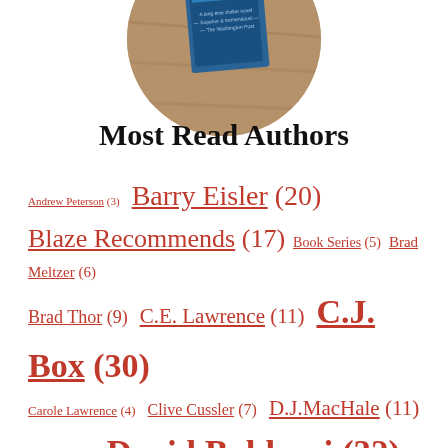[Figure (photo): Circular cropped photo of a book titled 'MOUNTAIN' lying on a wooden surface]
Most Read Authors
Andrew Peterson (3)  Barry Eisler (20)  Blaze Recommends (17)  Book Series (5)  Brad Meltzer (6)  Brad Thor (9)  C.E. Lawrence (11)  C.J. Box (30)  Carole Lawrence (4)  Clive Cussler (7)  D.J.MacHale (11)  Dan Brown (3)  David Baldacci (32)  George R.R. Martin (5)  Gregg Hurwitz (9)  J.K. Rowling (14)  James Rollins (6)  John Gilstrap (3)  John Grisham (21)  Jo Nesbo (9)  Jon Land (5)  Joseph Finder (5)  Kelli Stanley (8)  Kyle Mills (7)